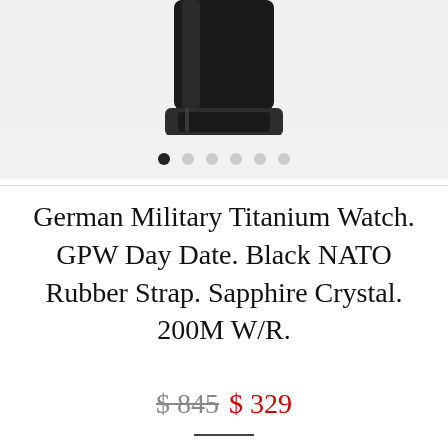[Figure (photo): Top portion of a watch with black NATO rubber strap, partially cropped, on a light gray background]
German Military Titanium Watch. GPW Day Date. Black NATO Rubber Strap. Sapphire Crystal. 200M W/R.
$ 845  $ 329